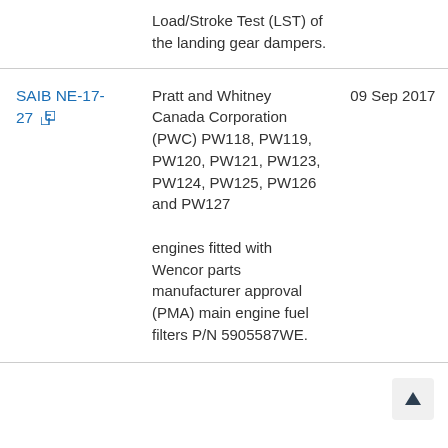|  | Description | Date |
| --- | --- | --- |
|  | Load/Stroke Test (LST) of the landing gear dampers. |  |
| SAIB NE-17-27 | Pratt and Whitney Canada Corporation (PWC) PW118, PW119, PW120, PW121, PW123, PW124, PW125, PW126 and PW127 engines fitted with Wencor parts manufacturer approval (PMA) main engine fuel filters P/N 5905587WE. | 09 Sep 2017 |